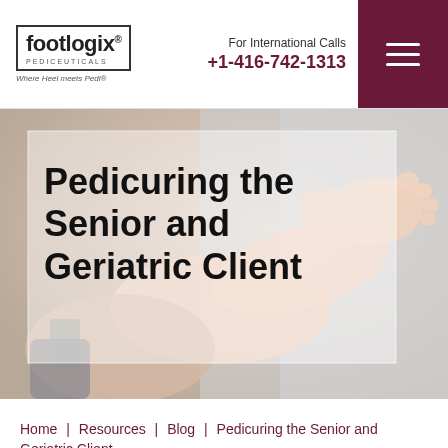footlogix Pediceuticals — For International Calls +1-416-742-1313
[Figure (photo): Close-up photo of a senior person's foot and lower leg elevated, with a blurred background. Semi-transparent white overlay box behind the title text.]
Pedicuring the Senior and Geriatric Client
Home | Resources | Blog | Pedicuring the Senior and Geriatric Client